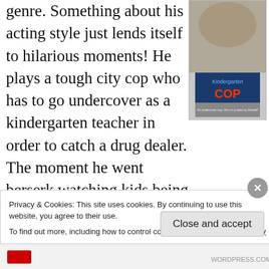genre. Something about his acting style just lends itself to hilarious moments! He plays a tough city cop who has to go undercover as a kindergarten teacher in order to catch a drug dealer. The moment he went berserk watching kids being well, kids, yelling
[Figure (photo): Movie poster for Kindergarten Cop showing Arnold Schwarzenegger surrounded by children]
Privacy & Cookies: This site uses cookies. By continuing to use this website, you agree to their use.
To find out more, including how to control cookies, see here: Cookie Policy
Close and accept